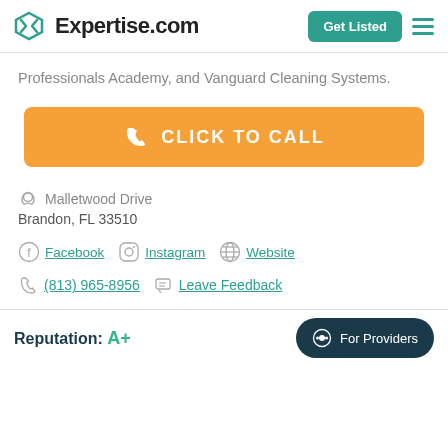Expertise.com — Get Listed
Professionals Academy, and Vanguard Cleaning Systems.
[Figure (other): Orange 'CLICK TO CALL' button with phone icon]
Malletwood Drive
Brandon, FL 33510
Facebook  Instagram  Website
(813) 965-8956  Leave Feedback
Reputation: A+